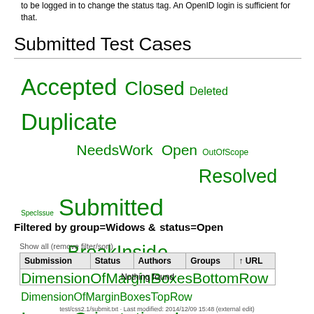to be logged in to change the status tag. An OpenID login is sufficient for that.
Submitted Test Cases
[Figure (other): Tag cloud showing test case status and group tags in varying green font sizes: Accepted, Closed, Deleted, Duplicate, NeedsWork, Open, OutOfScope, Resolved, SpecIssue, Submitted, BreakBefore, BreakInside, DimensionOfMarginBoxesBottomRow, DimensionOfMarginBoxesTopRow, ImageOrientation, Images, MarginBoxes, Orphans, PageBreaks, PageProperties, PageSize, Widows]
Filtered by group=Widows & status=Open
Show all (remove filter/sort)
| Submission | Status | Authors | Groups | ↑ URL |
| --- | --- | --- | --- | --- |
| Nothing found |  |  |  |  |
test/css2.1/submit.txt · Last modified: 2014/12/09 15:48 (external edit)